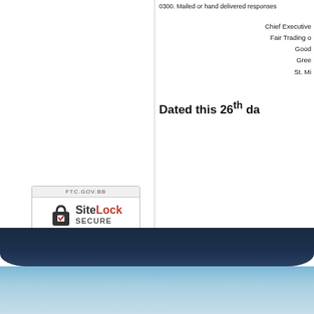0300. Mailed or hand delivered responses
Chief Executive
Fair Trading o
Good
Green
St. Mi
[Figure (logo): SiteLock SECURE badge for FTC.GOV.BB, Passed 01-Sep-2022]
Dated this 26th da
< Prev
[ Back ]